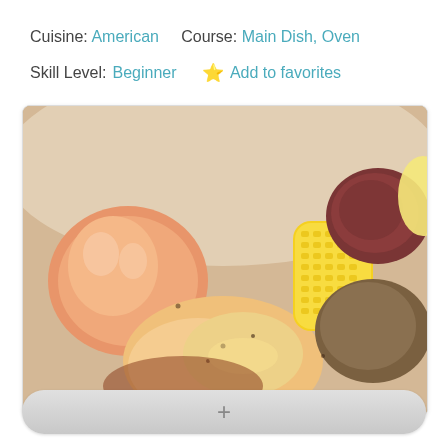Cuisine: American    Course: Main Dish, Oven
Skill Level: Beginner  ★ Add to favorites
[Figure (photo): Close-up photo of a cooked seafood and vegetable dish in a white bowl, showing seasoned shrimp, corn on the cob, and roasted red potatoes with herbs and spices]
+